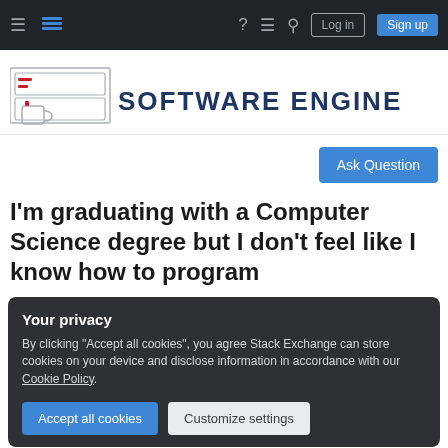Software Engineering Stack Exchange navigation bar with hamburger menu, logo, help, feedback, search icons, Log in and Sign up buttons
[Figure (logo): Software Engineering Stack Exchange logo with illustrated computer/server equipment and stylized text 'SOFTWARE ENGINEERING']
[Figure (other): Ask Question button (blue)]
I'm graduating with a Computer Science degree but I don't feel like I know how to program
Your privacy
By clicking "Accept all cookies", you agree Stack Exchange can store cookies on your device and disclose information in accordance with our Cookie Policy.
Accept all cookies   Customize settings
historical significance. It is not currently